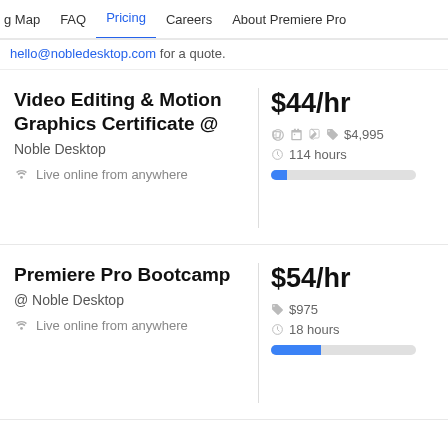g Map   FAQ   Pricing   Careers   About Premiere Pro
hello@nobledesktop.com for a quote.
Video Editing & Motion Graphics Certificate @ Noble Desktop
Live online from anywhere
$44/hr
$4,995
114 hours
Premiere Pro Bootcamp @ Noble Desktop
Live online from anywhere
$54/hr
$975
18 hours